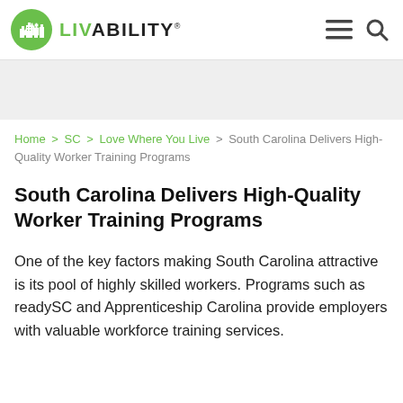LIVABILITY
[Figure (logo): Livability logo with green circle icon showing city skyline silhouette]
Home > SC > Love Where You Live > South Carolina Delivers High-Quality Worker Training Programs
South Carolina Delivers High-Quality Worker Training Programs
One of the key factors making South Carolina attractive is its pool of highly skilled workers. Programs such as readySC and Apprenticeship Carolina provide employers with valuable workforce training services.